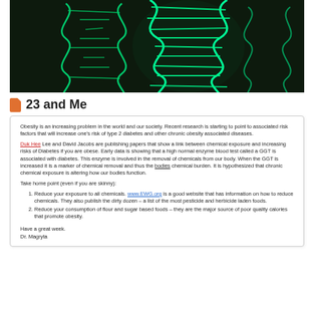[Figure (photo): Glowing green DNA double helix on dark background]
23 and Me
Obesity is an increasing problem in the world and our society. Recent research is starting to point to associated risk factors that will increase one's risk of type 2 diabetes and other chronic obesity associated diseases.
Duk Hee Lee and David Jacobs are publishing papers that show a link between chemical exposure and increasing risks of Diabetes if you are obese. Early data is showing that a high normal enzyme blood test called a GGT is associated with diabetes. This enzyme is involved in the removal of chemicals from our body. When the GGT is increased it is a marker of chemical removal and thus the bodies chemical burden. It is hypothesized that chronic chemical exposure is altering how our bodies function.
Take home point (even if you are skinny):
Reduce your exposure to all chemicals. www.EWG.org is a good website that has information on how to reduce chemicals. They also publish the dirty dozen – a list of the most pesticide and herbicide laden foods.
Reduce your consumption of flour and sugar based foods – they are the major source of poor quality calories that promote obesity.
Have a great week.
Dr. Magryta